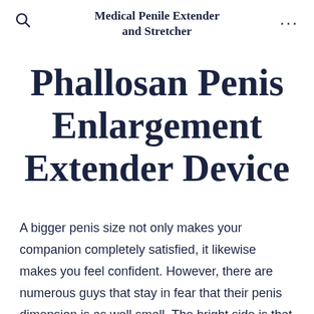Medical Penile Extender and Stretcher
Phallosan Penis Enlargement Extender Device
A bigger penis size not only makes your companion completely satisfied, it likewise makes you feel confident. However, there are numerous guys that stay in fear that their penis dimension is as well small. The bright side is that there are methods to